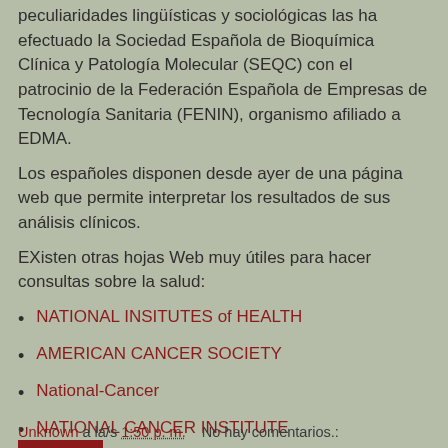peculiaridades lingüísticas y sociológicas las ha efectuado la Sociedad Española de Bioquímica Clínica y Patología Molecular (SEQC) con el patrocinio de la Federación Española de Empresas de Tecnología Sanitaria (FENIN), organismo afiliado a EDMA.
Los españoles disponen desde ayer de una página web que permite interpretar los resultados de sus análisis clínicos.
EXisten otras hojas Web muy útiles para hacer consultas sobre la salud:
NATIONAL INSITUTES of HEALTH
AMERICAN CANCER SOCIETY
National-Cancer
NATIONAL CANCER INSTITUTE
Unknown a la/s 1:50 p. m.    No hay comentarios.: